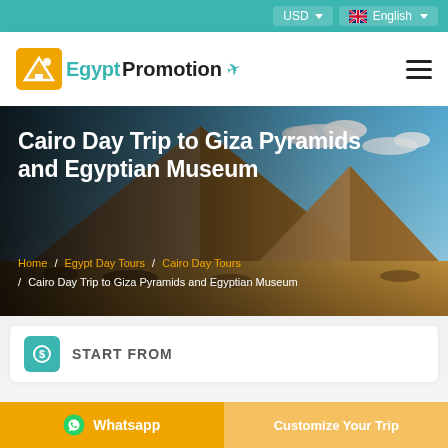USD | English
[Figure (logo): Egypt Promotion logo with orange icon, teal text 'Egypt' and dark bold 'Promotion', airplane icon]
Cairo Day Trip to Giza Pyramids and Egyptian Museum
Home / Egypt Day Tours / Cairo Day Tours / Cairo Day Trip to Giza Pyramids and Egyptian Museum
[Figure (photo): Giza Pyramids with blue sky background, hero banner image]
START FROM
Whatsapp | Customize Your Trip